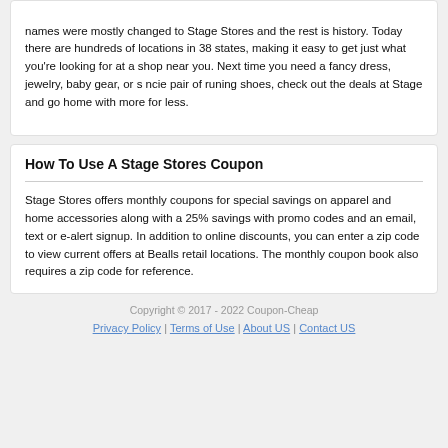names were mostly changed to Stage Stores and the rest is history. Today there are hundreds of locations in 38 states, making it easy to get just what you're looking for at a shop near you. Next time you need a fancy dress, jewelry, baby gear, or s ncie pair of runing shoes, check out the deals at Stage and go home with more for less.
How To Use A Stage Stores Coupon
Stage Stores offers monthly coupons for special savings on apparel and home accessories along with a 25% savings with promo codes and an email, text or e-alert signup. In addition to online discounts, you can enter a zip code to view current offers at Bealls retail locations. The monthly coupon book also requires a zip code for reference.
Copyright © 2017 - 2022 Coupon-Cheap
Privacy Policy | Terms of Use | About US | Contact US